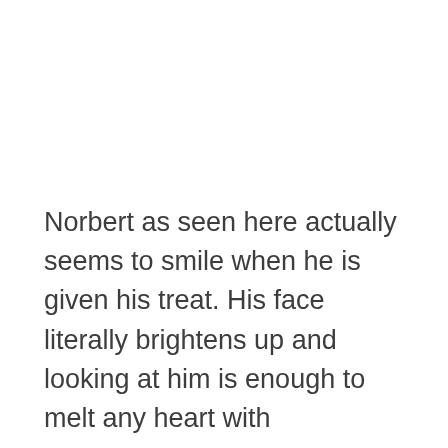Norbert as seen here actually seems to smile when he is given his treat. His face literally brightens up and looking at him is enough to melt any heart with